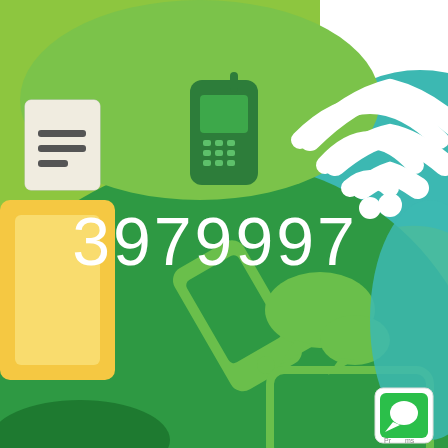[Figure (illustration): Technology/communication themed illustration with green color scheme showing mobile phones, WiFi symbol, chat bubbles, tablet, and laptop icons on green background blobs. Large white number '3979997' displayed in center. Small document icon top-left corner. Small green chat app icon bottom-right corner.]